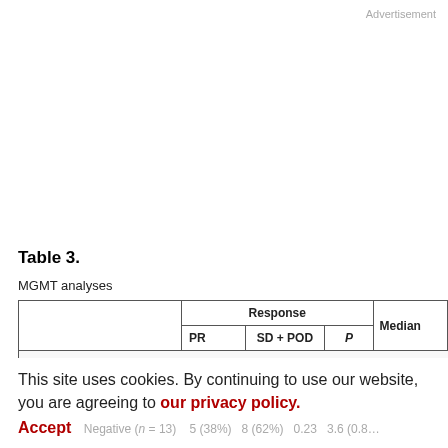Advertisement
Table 3.
MGMT analyses
|  | Response — PR | Response — SD + POD | Response — P | Median |
| --- | --- | --- | --- | --- |
| MGMT methylation (n = 27)a |  |  |  |  |
| Methylated (n = 13) | 5 (38%) | 8 (62%) | 0.08a | 1.7 (0.8… |
| Unmethylated (n = 14) | 1 (7%) | 13 (93%) |  | 0.8 (0.7… |
This site uses cookies. By continuing to use our website, you are agreeing to our privacy policy. Accept
|  | PR | SD + POD | P | Median |
| --- | --- | --- | --- | --- |
| Negative (n = 13) | 5 (38%) | 8 (62%) | 0.23 | 3.6 (0.8… |